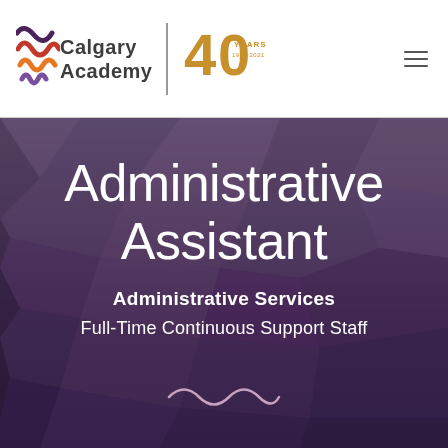[Figure (logo): Calgary Academy logo with wavy lines icon and 40 Years anniversary badge]
Administrative Assistant
Administrative Services
Full-Time Continuous Support Staff